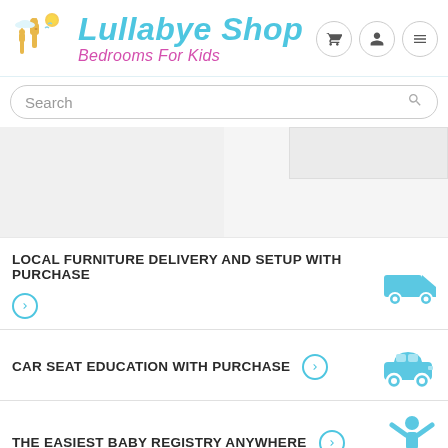[Figure (logo): Lullabye Shop logo with giraffes and animals illustration, cyan script text 'Lullabye Shop', pink italic text 'Bedrooms For Kids']
[Figure (screenshot): Search bar with placeholder text 'Search' and magnifying glass icon]
[Figure (photo): Partial product images in two-column layout, largely blank/loading]
LOCAL FURNITURE DELIVERY AND SETUP WITH PURCHASE
CAR SEAT EDUCATION WITH PURCHASE
THE EASIEST BABY REGISTRY ANYWHERE